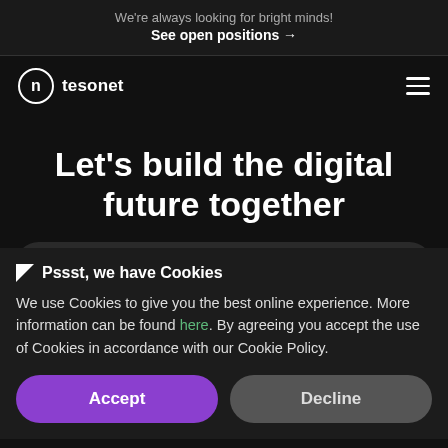We're always looking for bright minds! See open positions →
[Figure (logo): Tesonet logo: circle with n letter and tesonet wordmark]
Let's build the digital future together
Pssst, we have Cookies
We use Cookies to give you the best online experience. More information can be found here. By agreeing you accept the use of Cookies in accordance with our Cookie Policy.
Accept | Decline